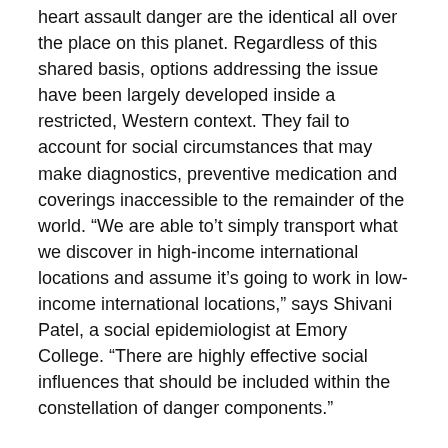heart assault danger are the identical all over the place on this planet. Regardless of this shared basis, options addressing the issue have been largely developed inside a restricted, Western context. They fail to account for social circumstances that may make diagnostics, preventive medication and coverings inaccessible to the remainder of the world. “We are able to’t simply transport what we discover in high-income international locations and assume it’s going to work in low-income international locations,” says Shivani Patel, a social epidemiologist at Emory College. “There are highly effective social influences that should be included within the constellation of danger components.”
Neglected and Underrepresented
In 1947 the U.S. Public Well being Service (now the Nationwide Institutes of Well being) launched a examine that tracked each the well being and life habits of residents of the city of Framingham, Mass., after which checked out how these corresponded to coronary heart well being. Due to the Framingham Coronary heart